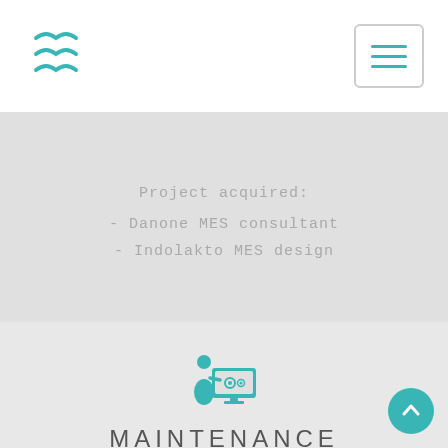Project acquired:
- Danone MES consultant
- Indolakto MES design
[Figure (illustration): Teal icon of a person presenting at a screen with gear icons]
MAINTENANCE
We provide maintenance services for those systems that we have delievered. The